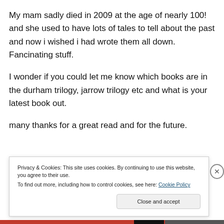My mam sadly died in 2009 at the age of nearly 100! and she used to have lots of tales to tell about the past and now i wished i had wrote them all down. Fancinating stuff.
I wonder if you could let me know which books are in the durham trilogy, jarrow trilogy etc and what is your latest book out.
many thanks for a great read and for the future.
G...
Privacy & Cookies: This site uses cookies. By continuing to use this website, you agree to their use.
To find out more, including how to control cookies, see here: Cookie Policy
Close and accept